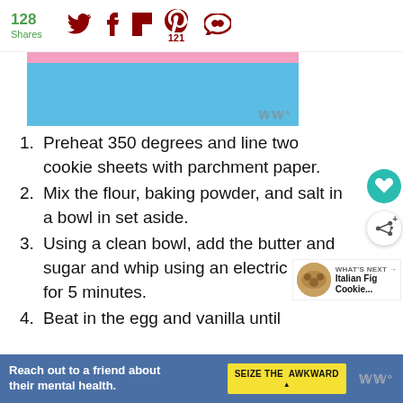128 Shares
[Figure (screenshot): Blue and pink banner image with logo watermark]
1. Preheat 350 degrees and line two cookie sheets with parchment paper.
2. Mix the flour, baking powder, and salt in a bowl in set aside.
3. Using a clean bowl, add the butter and sugar and whip using an electric beat for 5 minutes.
4. Beat in the egg and vanilla until
Reach out to a friend about their mental health. SEIZE THE AWKWARD